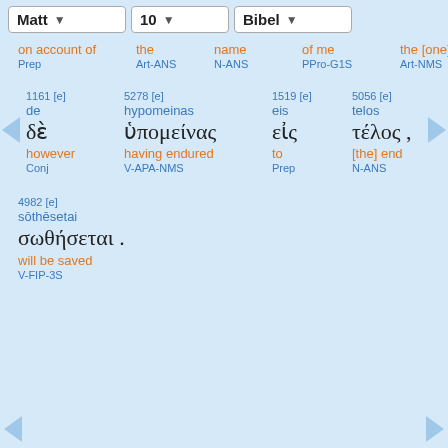Matt  10  Bibel
on account of  the  name  of me  the [one]
Prep  Art-ANS  N-ANS  PPro-G1S  Art-NMS
1161 [e]  5278 [e]  1519 [e]  5056 [e]  3778 [e]
de  hypomeinas  eis  telos  houtos
δὲ  ὑπομείνας  εἰς  τέλος ,  οὗτος
however  having endured  to  [the] end  he
Conj  V-APA-NMS  Prep  N-ANS  DPro-NMS
4982 [e]
sōthēsetai
σωθήσεται .
will be saved
V-FIP-3S